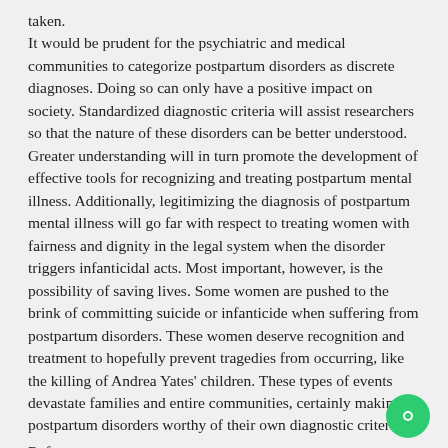taken.
It would be prudent for the psychiatric and medical communities to categorize postpartum disorders as discrete diagnoses. Doing so can only have a positive impact on society. Standardized diagnostic criteria will assist researchers so that the nature of these disorders can be better understood. Greater understanding will in turn promote the development of effective tools for recognizing and treating postpartum mental illness. Additionally, legitimizing the diagnosis of postpartum mental illness will go far with respect to treating women with fairness and dignity in the legal system when the disorder triggers infanticidal acts. Most important, however, is the possibility of saving lives. Some women are pushed to the brink of committing suicide or infanticide when suffering from postpartum disorders. These women deserve recognition and treatment to hopefully prevent tragedies from occurring, like the killing of Andrea Yates' children. These types of events devastate families and entire communities, certainly making postpartum disorders worthy of their own diagnostic criteria.
References
Adewuya, A., Eegunranti, A., & Lawal, A. (2005). Prevalence of